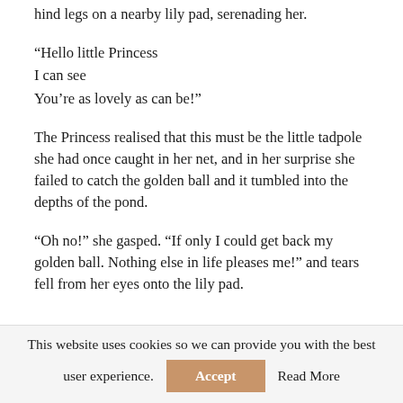hind legs on a nearby lily pad, serenading her.
“Hello little Princess
I can see
You’re as lovely as can be!”
The Princess realised that this must be the little tadpole she had once caught in her net, and in her surprise she failed to catch the golden ball and it tumbled into the depths of the pond.
“Oh no!” she gasped. “If only I could get back my golden ball. Nothing else in life pleases me!” and tears fell from her eyes onto the lily pad.
This website uses cookies so we can provide you with the best user experience.
Accept
Read More